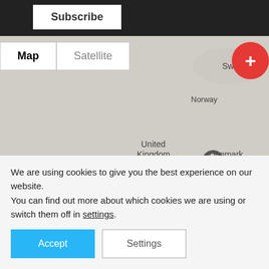[Figure (screenshot): Top navigation bar with Subscribe button on dark background]
[Figure (map): Grayscale map of Europe (Google Maps style) showing countries including Iceland, Sweden, Finland, Norway, United Kingdom, Ireland, Denmark, Germany, Poland, Belarus, Ukraine, France, Austria, Romania, Italy, Spain, Portugal, Greece, Turkey. A route/track is shown near Denmark/Germany area as a chain-link shape in red and dark gray.]
We are using cookies to give you the best experience on our website.
You can find out more about which cookies we are using or switch them off in settings.
Accept
Settings